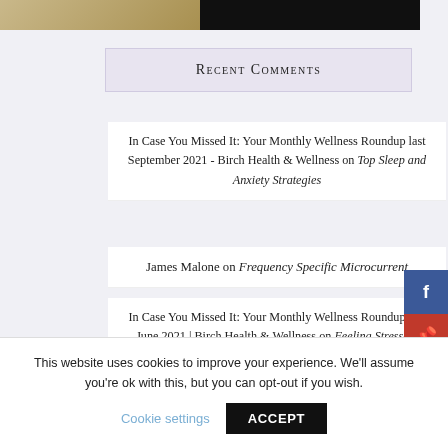[Figure (photo): Cropped top portion of a webpage showing two images side by side: a tan/golden image on the left and a dark/black image on the right]
Recent Comments
In Case You Missed It: Your Monthly Wellness Roundup last September 2021 - Birch Health & Wellness on Top Sleep and Anxiety Strategies
James Malone on Frequency Specific Microcurrent
In Case You Missed It: Your Monthly Wellness Roundup last June 2021 | Birch Health & Wellness on Feeling Stressed, Anxious or Fatigued? Maybe
This website uses cookies to improve your experience. We'll assume you're ok with this, but you can opt-out if you wish.
Cookie settings  ACCEPT